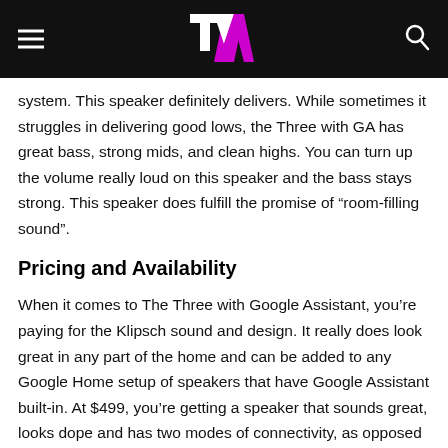TV (logo header bar)
system. This speaker definitely delivers. While sometimes it struggles in delivering good lows, the Three with GA has great bass, strong mids, and clean highs. You can turn up the volume really loud on this speaker and the bass stays strong. This speaker does fulfill the promise of “room-filling sound”.
Pricing and Availability
When it comes to The Three with Google Assistant, you’re paying for the Klipsch sound and design. It really does look great in any part of the home and can be added to any Google Home setup of speakers that have Google Assistant built-in. At $499, you’re getting a speaker that sounds great, looks dope and has two modes of connectivity, as opposed to just wifi connection.
Verdict
I can’t deny how great this speaker sounds. I do wish it brought